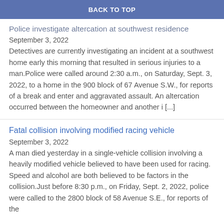BACK TO TOP
Police investigate altercation at southwest residence
September 3, 2022
Detectives are currently investigating an incident at a southwest home early this morning that resulted in serious injuries to a man.Police were called around 2:30 a.m., on Saturday, Sept. 3, 2022, to a home in the 900 block of 67 Avenue S.W., for reports of a break and enter and aggravated assault. An altercation occurred between the homeowner and another i [...]
Fatal collision involving modified racing vehicle
September 3, 2022
A man died yesterday in a single-vehicle collision involving a heavily modified vehicle believed to have been used for racing. Speed and alcohol are both believed to be factors in the collision.Just before 8:30 p.m., on Friday, Sept. 2, 2022, police were called to the 2800 block of 58 Avenue S.E., for reports of the